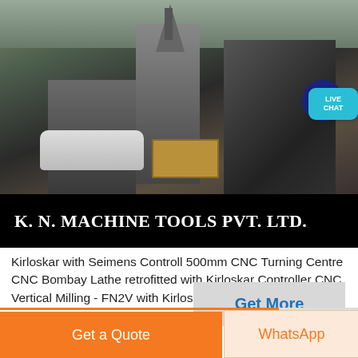[Figure (photo): Industrial machinery photo showing large metal equipment, conical cyclone separator, dark machinery silhouettes inside a factory/warehouse setting with wooden crates and bags in foreground. A 'LIVE CHAT' bubble overlay appears in the top right.]
K. N. MACHINE TOOLS PVT. LTD.
Kirloskar with Seimens Controll 500mm CNC Turning Centre CNC Bombay Lathe retrofitted with Kirloskar Controller CNC Vertical Milling - FN2V with Kirloskar Controller
Get More
Get a Quote
WhatsApp